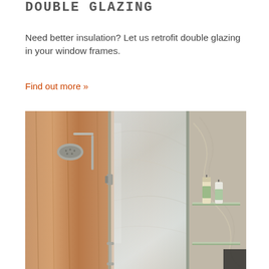DOUBLE GLAZING
Need better insulation? Let us retrofit double glazing in your window frames.
Find out more »
[Figure (photo): Bathroom shower with glass enclosure panels, rain showerhead, wooden wall tiles, grey stone marble wall tiles, and glass shelves with candles and products.]